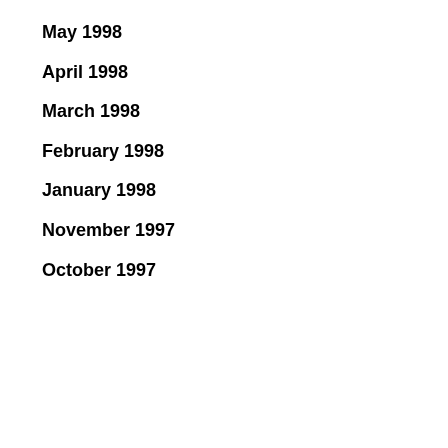May 1998
April 1998
March 1998
February 1998
January 1998
November 1997
October 1997